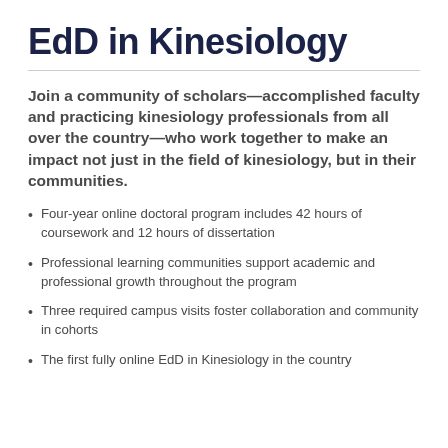EdD in Kinesiology
Join a community of scholars—accomplished faculty and practicing kinesiology professionals from all over the country—who work together to make an impact not just in the field of kinesiology, but in their communities.
Four-year online doctoral program includes 42 hours of coursework and 12 hours of dissertation
Professional learning communities support academic and professional growth throughout the program
Three required campus visits foster collaboration and community in cohorts
The first fully online EdD in Kinesiology in the country